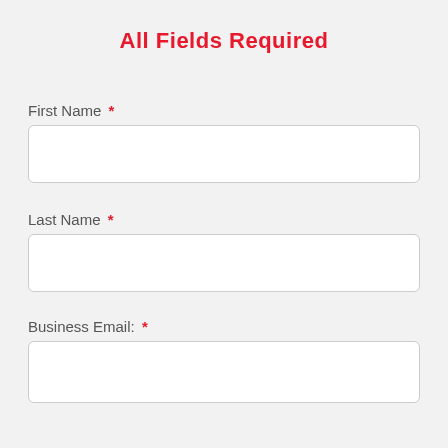All Fields Required
First Name *
Last Name *
Business Email: *